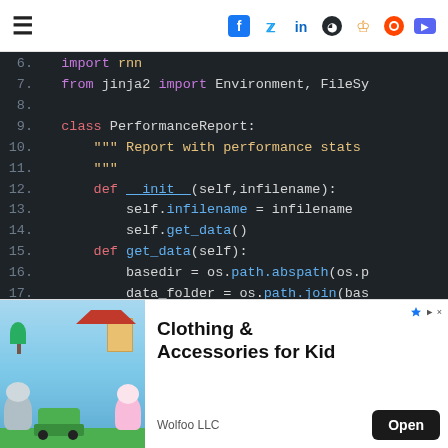≡  f  t  in  gh  so  rd  dc
[Figure (screenshot): Python code editor showing class PerformanceReport with __init__ and get_data methods, dark theme, lines 6-19]
[Figure (infographic): Advertisement banner: Wolfoo LLC - Clothing & Accessories for Kid, with cartoon characters, Open button]